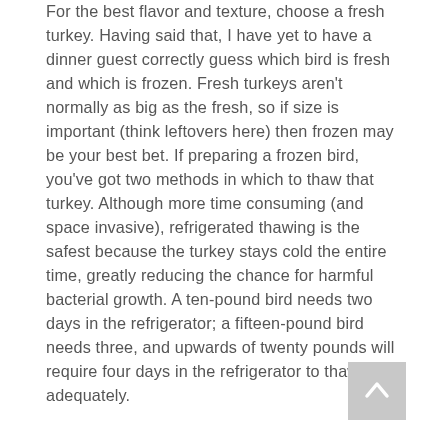For the best flavor and texture, choose a fresh turkey. Having said that, I have yet to have a dinner guest correctly guess which bird is fresh and which is frozen. Fresh turkeys aren't normally as big as the fresh, so if size is important (think leftovers here) then frozen may be your best bet. If preparing a frozen bird, you've got two methods in which to thaw that turkey. Although more time consuming (and space invasive), refrigerated thawing is the safest because the turkey stays cold the entire time, greatly reducing the chance for harmful bacterial growth. A ten-pound bird needs two days in the refrigerator; a fifteen-pound bird needs three, and upwards of twenty pounds will require four days in the refrigerator to thaw adequately.